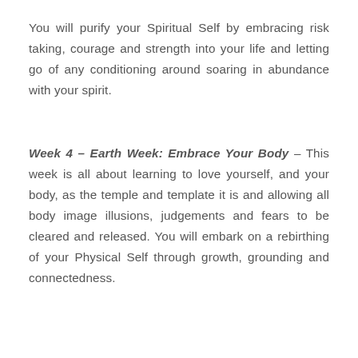You will purify your Spiritual Self by embracing risk taking, courage and strength into your life and letting go of any conditioning around soaring in abundance with your spirit.
Week 4 – Earth Week: Embrace Your Body – This week is all about learning to love yourself, and your body, as the temple and template it is and allowing all body image illusions, judgements and fears to be cleared and released. You will embark on a rebirthing of your Physical Self through growth, grounding and connectedness.